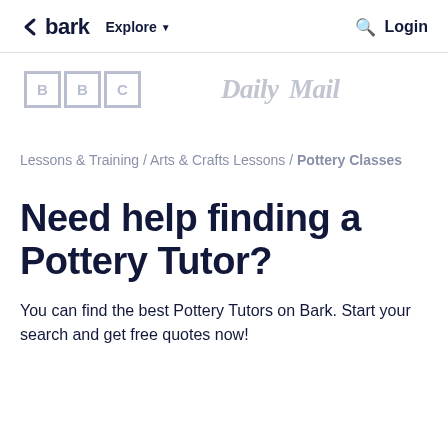bark  Explore  Login
[Figure (logo): BBC logo (three boxes with B, B, C letters in grey) and Daily Mail logo in grey serif font]
Lessons & Training / Arts & Crafts Lessons / Pottery Classes
Need help finding a Pottery Tutor?
You can find the best Pottery Tutors on Bark. Start your search and get free quotes now!